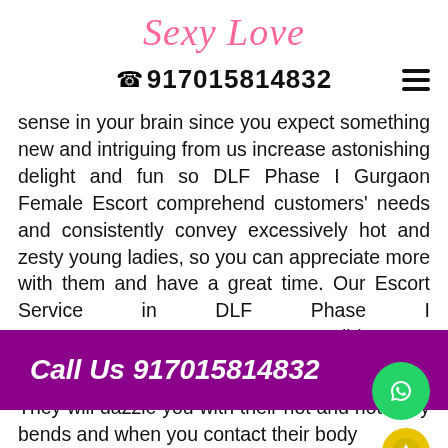[Figure (logo): Sexy Love cursive pink logo]
☎ 917015814832
sense in your brain since you expect something new and intriguing from us increase astonishing delight and fun so DLF Phase I Gurgaon Female Escort comprehend customers' needs and consistently convey excessively hot and zesty young ladies, so you can appreciate more with them and have a great time. Our Escort Service in DLF Phase I solid a f
[Figure (infographic): Purple banner overlay with text: Call Us 917015814832, with WhatsApp green circle button and yellow scroll-up button]
They will dazzle you with their hot and hot body bends and when you contact their body